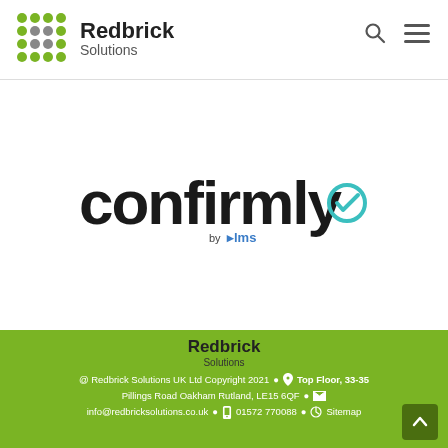[Figure (logo): Redbrick Solutions logo with dot grid and company name, plus search and hamburger menu icons in header]
[Figure (logo): Confirmly by lms logo — large stylized lowercase text 'confirmly' with a teal checkmark icon, and 'by lms' subtitle]
[Figure (logo): Redbrick Solutions footer logo]
@ Redbrick Solutions UK Ltd Copyright 2021   Top Floor, 33-35 Pillings Road Oakham Rutland, LE15 6QF   info@redbricksolutions.co.uk   01572 770088   Sitemap